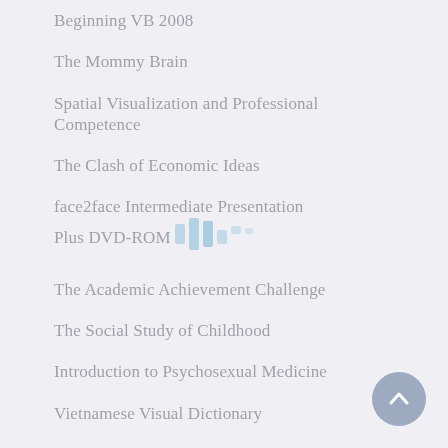Beginning VB 2008
The Mommy Brain
Spatial Visualization and Professional Competence
The Clash of Economic Ideas
face2face Intermediate Presentation Plus DVD-ROM
The Academic Achievement Challenge
The Social Study of Childhood
Introduction to Psychosexual Medicine
Vietnamese Visual Dictionary
The Secret Listener
Popular Culture, Geopolitics, and